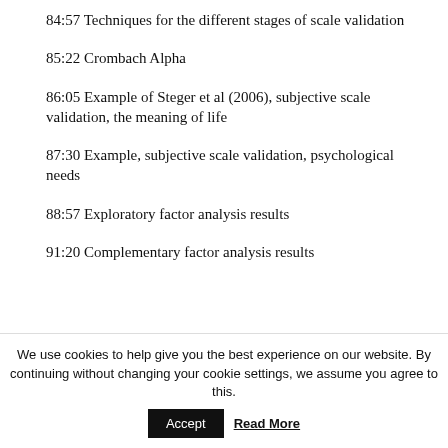84:57 Techniques for the different stages of scale validation
85:22 Crombach Alpha
86:05 Example of Steger et al (2006), subjective scale validation, the meaning of life
87:30 Example, subjective scale validation, psychological needs
88:57 Exploratory factor analysis results
91:20 Complementary factor analysis results
We use cookies to help give you the best experience on our website. By continuing without changing your cookie settings, we assume you agree to this.